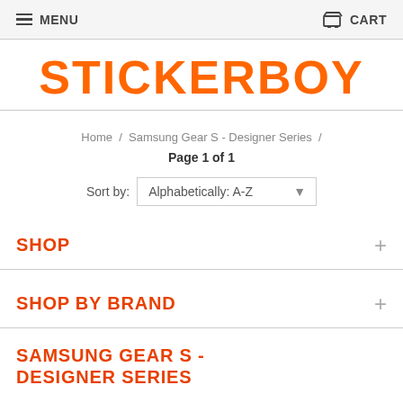MENU   CART
STICKERBOY
Home / Samsung Gear S - Designer Series /
Page 1 of 1
Sort by: Alphabetically: A-Z
SHOP
SHOP BY BRAND
SAMSUNG GEAR S - DESIGNER SERIES